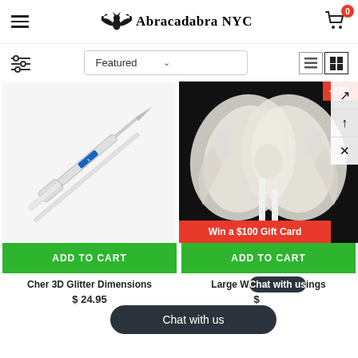Abracadabra NYC
Featured
[Figure (photo): Product image: Cher 3D Glitter Dimensions (pen/syringe tool on white background)]
ADD TO CART
Cher 3D Glitter Dimensions
$ 24.95
[Figure (photo): Product image: Large White Angel Wings on dark background, -27% discount badge]
ADD TO CART
Large W...ings
Win a $100 Gift Card
Chat with us